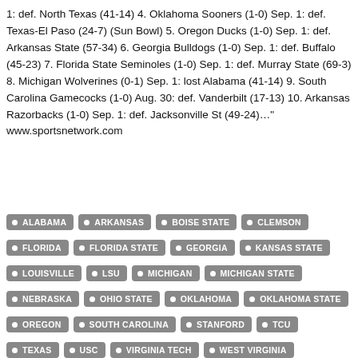1: def. North Texas (41-14) 4. Oklahoma Sooners (1-0) Sep. 1: def. Texas-El Paso (24-7) (Sun Bowl) 5. Oregon Ducks (1-0) Sep. 1: def. Arkansas State (57-34) 6. Georgia Bulldogs (1-0) Sep. 1: def. Buffalo (45-23) 7. Florida State Seminoles (1-0) Sep. 1: def. Murray State (69-3) 8. Michigan Wolverines (0-1) Sep. 1: lost Alabama (41-14) 9. South Carolina Gamecocks (1-0) Aug. 30: def. Vanderbilt (17-13) 10. Arkansas Razorbacks (1-0) Sep. 1: def. Jacksonville St (49-24)…" www.sportsnetwork.com
ALABAMA
ARKANSAS
BOISE STATE
CLEMSON
FLORIDA
FLORIDA STATE
GEORGIA
KANSAS STATE
LOUISVILLE
LSU
MICHIGAN
MICHIGAN STATE
NEBRASKA
OHIO STATE
OKLAHOMA
OKLAHOMA STATE
OREGON
SOUTH CAROLINA
STANFORD
TCU
TEXAS
USC
VIRGINIA TECH
WEST VIRGINIA
WISCONSIN